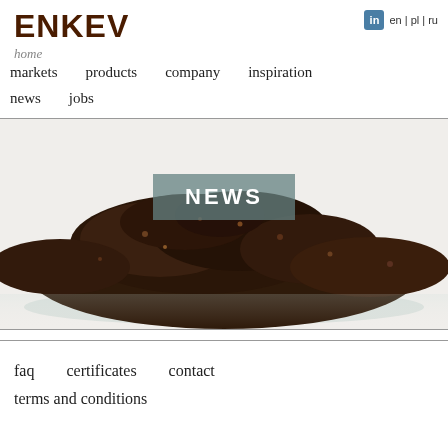ENKEV
en | pl | ru
home
markets   products   company   inspiration
news   jobs
[Figure (photo): A pile of dark brown soil/coco fiber photographed on a white background, with a semi-transparent gray overlay banner showing the word NEWS in bold white capital letters.]
faq   certificates   contact
terms and conditions